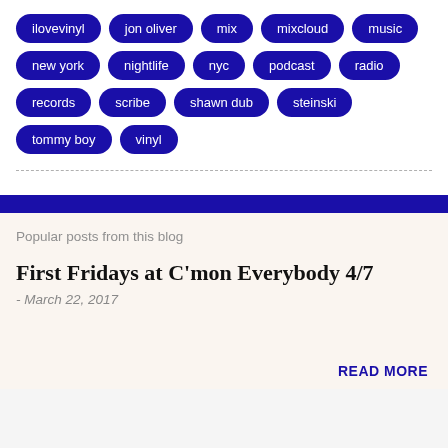ilovevinyl
jon oliver
mix
mixcloud
music
new york
nightlife
nyc
podcast
radio
records
scribe
shawn dub
steinski
tommy boy
vinyl
Popular posts from this blog
First Fridays at C'mon Everybody 4/7
- March 22, 2017
READ MORE